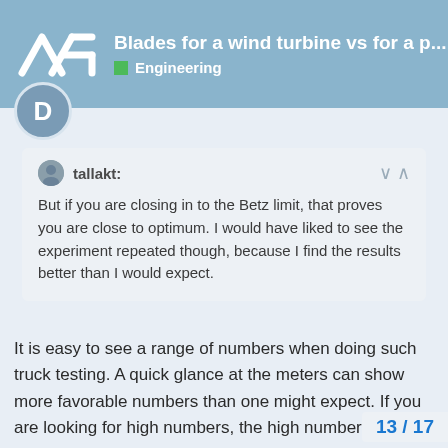Blades for a wind turbine vs for a p... | Engineering
tallakt: But if you are closing in to the Betz limit, that proves you are close to optimum. I would have liked to see the experiment repeated though, because I find the results better than I would expect.
It is easy to see a range of numbers when doing such truck testing. A quick glance at the meters can show more favorable numbers than one might expect. If you are looking for high numbers, the high numbers are what you will remember, ignoring times with lower output. Best to use long runs and go in two directions in calm air and take the average, since even a 2 MPH wind can skew your results a lot. Even a crosswind will add power. Also, you can beat the Betz coefficient briefly when the rotor first spins up, before a bubble of c... ahead of the rotor. How is this possible? T
13 / 17